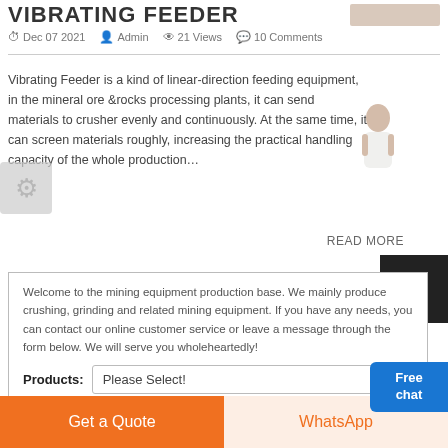VIBRATING FEEDER
Dec 07 2021  Admin  21 Views  10 Comments
Vibrating Feeder is a kind of linear-direction feeding equipment, in the mineral ore &rocks processing plants, it can send materials to crusher evenly and continuously. At the same time, it can screen materials roughly, increasing the practical handling capacity of the whole production…
READ MORE
Welcome to the mining equipment production base. We mainly produce crushing, grinding and related mining equipment. If you have any needs, you can contact our online customer service or leave a message through the form below. We will serve you wholeheartedly!
Products: Please Select!
Get a Quote
WhatsApp